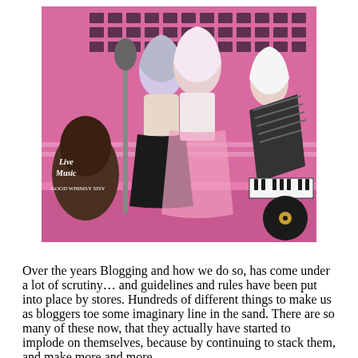[Figure (illustration): Three stylized female avatars (Second Life style) posed in a pink music studio setting. Left figure has silver-gray hair leaning on a microphone stand with a guitar nearby reading 'Live Music GOOD WHIMSY SISY'. Center figure has long white-pink hair wearing a black pleated skirt and white top. Right figure holds a striped electric guitar wearing a black outfit. Pink walls with black square pattern tiles in background, vinyl record and keyboard visible.]
Over the years Blogging and how we do so, has come under a lot of scrutiny… and guidelines and rules have been put into place by stores. Hundreds of different things to make us as bloggers toe some imaginary line in the sand. There are so many of these now, that they actually have started to implode on themselves, because by continuing to stack them, and make more and more